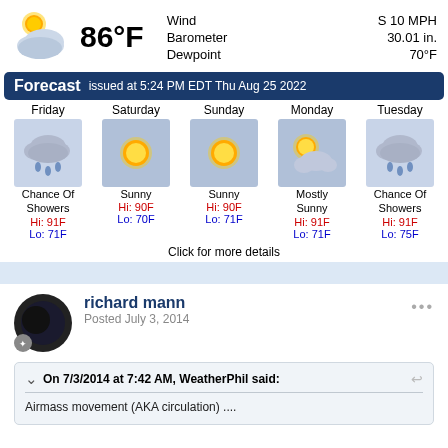[Figure (infographic): Current weather display showing 86°F temperature with cloud/sun icon, wind S 10 MPH, Barometer 30.01 in., Dewpoint 70°F]
Forecast issued at 5:24 PM EDT Thu Aug 25 2022
[Figure (infographic): 5-day forecast: Friday Chance Of Showers Hi 91F Lo 71F; Saturday Sunny Hi 90F Lo 70F; Sunday Sunny Hi 90F Lo 71F; Monday Mostly Sunny Hi 91F Lo 71F; Tuesday Chance Of Showers Hi 91F Lo 75F]
Click for more details
richard mann
Posted July 3, 2014
On 7/3/2014 at 7:42 AM, WeatherPhil said:
Airmass movement (AKA circulation) ....